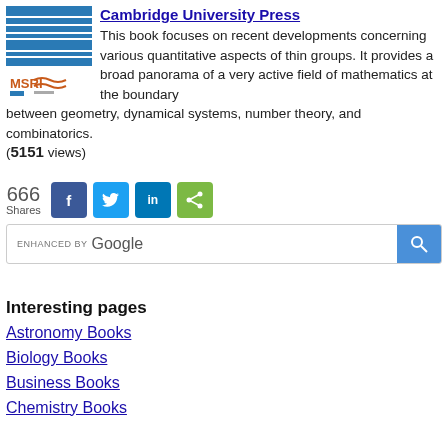[Figure (logo): Cambridge University Press / MSRI book cover logo with blue horizontal stripes and MSRI text]
Cambridge University Press
This book focuses on recent developments concerning various quantitative aspects of thin groups. It provides a broad panorama of a very active field of mathematics at the boundary between geometry, dynamical systems, number theory, and combinatorics.
(5151 views)
666 Shares
[Figure (infographic): Social sharing buttons: Facebook (f), Twitter (bird), LinkedIn (in), Share (<)]
[Figure (screenshot): Enhanced by Google search bar with magnifying glass icon]
Interesting pages
Astronomy Books
Biology Books
Business Books
Chemistry Books